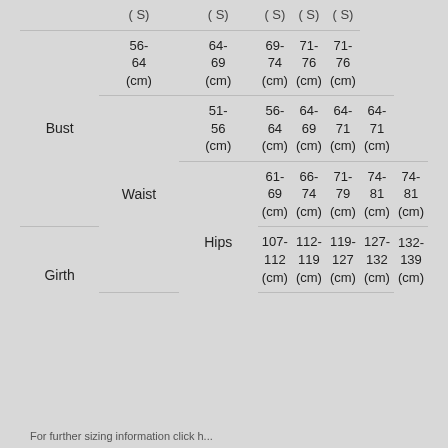|  | Col1 | Col2 | Col3 | Col4 | Col5 |
| --- | --- | --- | --- | --- | --- |
| Bust | 56-64 (cm) | 64-69 (cm) | 69-74 (cm) | 71-76 (cm) | 71-76 (cm) |
| Waist | 51-56 (cm) | 56-64 (cm) | 64-69 (cm) | 64-71 (cm) | 64-71 (cm) |
| Hips | 61-69 (cm) | 66-74 (cm) | 71-79 (cm) | 74-81 (cm) | 74-81 (cm) |
| Girth | 107-112 (cm) | 112-119 (cm) | 119-127 (cm) | 127-132 (cm) | 132-139 (cm) |
For further sizing information click h...